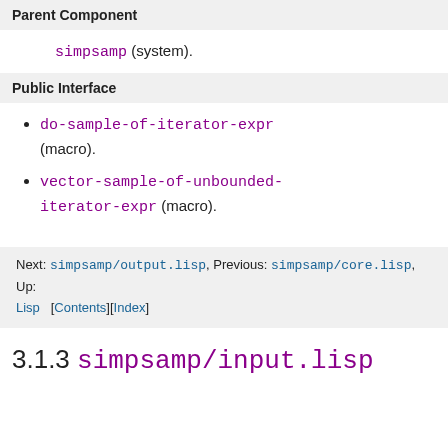Parent Component
simpsamp (system).
Public Interface
do-sample-of-iterator-expr (macro).
vector-sample-of-unbounded-iterator-expr (macro).
Next: simpsamp/output.lisp, Previous: simpsamp/core.lisp, Up: Lisp  [Contents][Index]
3.1.3 simpsamp/input.lisp